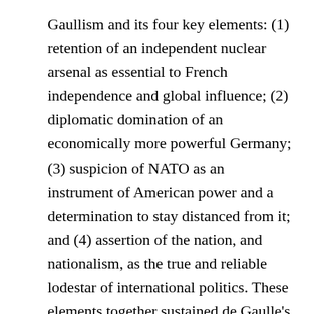Gaullism and its four key elements: (1) retention of an independent nuclear arsenal as essential to French independence and global influence; (2) diplomatic domination of an economically more powerful Germany; (3) suspicion of NATO as an instrument of American power and a determination to stay distanced from it; and (4) assertion of the nation, and nationalism, as the true and reliable lodestar of international politics. These elements together sustained de Gaulle's vision of France as the leader of Europe--a